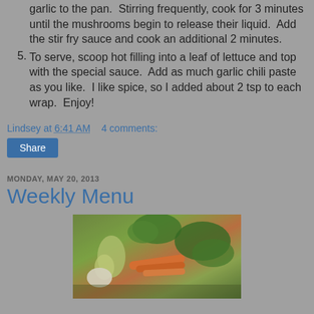garlic to the pan.  Stirring frequently, cook for 3 minutes until the mushrooms begin to release their liquid.  Add the stir fry sauce and cook an additional 2 minutes.
5. To serve, scoop hot filling into a leaf of lettuce and top with the special sauce.  Add as much garlic chili paste as you like.  I like spice, so I added about 2 tsp to each wrap.  Enjoy!
Lindsey at 6:41 AM    4 comments:
Share
MONDAY, MAY 20, 2013
Weekly Menu
[Figure (photo): Photograph of fresh vegetables including carrots, leafy greens, broccoli, and onions arranged on a surface]